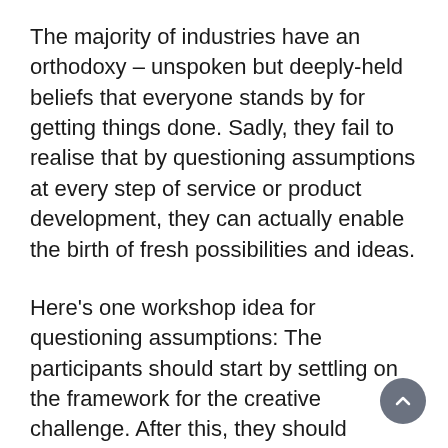The majority of industries have an orthodoxy – unspoken but deeply-held beliefs that everyone stands by for getting things done. Sadly, they fail to realise that by questioning assumptions at every step of service or product development, they can actually enable the birth of fresh possibilities and ideas.
Here's one workshop idea for questioning assumptions: The participants should start by settling on the framework for the creative challenge. After this, they should produce 20 to 30 assumptions (irrespective of whether they are true or false). The next step is to select several assumptions from the many generated, and utilise them as idea triggers and thought starters to